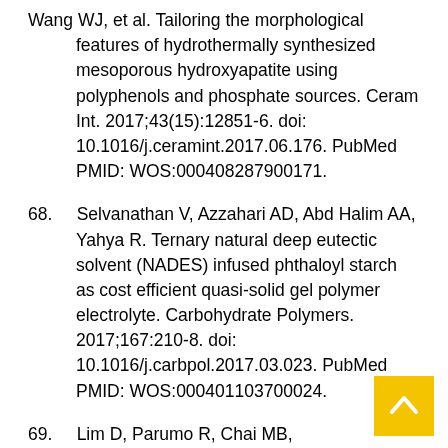Wang WJ, et al. Tailoring the morphological features of hydrothermally synthesized mesoporous hydroxyapatite using polyphenols and phosphate sources. Ceram Int. 2017;43(15):12851-6. doi: 10.1016/j.ceramint.2017.06.176. PubMed PMID: WOS:000408287900171.
68.     Selvanathan V, Azzahari AD, Abd Halim AA, Yahya R. Ternary natural deep eutectic solvent (NADES) infused phthaloyl starch as cost efficient quasi-solid gel polymer electrolyte. Carbohydrate Polymers. 2017;167:210-8. doi: 10.1016/j.carbpol.2017.03.023. PubMed PMID: WOS:000401103700024.
69.     Lim D, Parumo R, Chai MB, Shanmuganathan J. Transnasal Endoscopy Removal of Dislodged Dental Implant: A Case